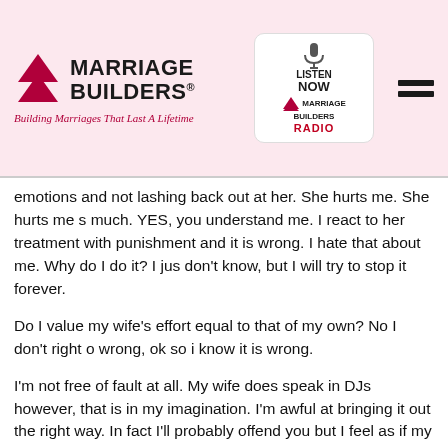Marriage Builders — Building Marriages That Last A Lifetime
emotions and not lashing back out at her. She hurts me. She hurts me so much. YES, you understand me. I react to her treatment with punishment and it is wrong. I hate that about me. Why do I do it? I just don't know, but I will try to stop it forever.
Do I value my wife's effort equal to that of my own? No I don't right now, wrong, ok so i know it is wrong.
I'm not free of fault at all. My wife does speak in DJs however, that is not in my imagination. I'm awful at bringing it out the right way. In fact I'll probably offend you but I feel as if my wife can't speak to me unless it's rude and disrespectful. I can't stop feeling that, it is real, but I am wrong for responding with equal DJs.
Honestly? I'm considering leaving. Do you think it is because I'm safe? I don't think it is but again I could be full of emotions and wrong. Yes something is very wrong. Did I cause it? I guess it doesn't matter, I nee...